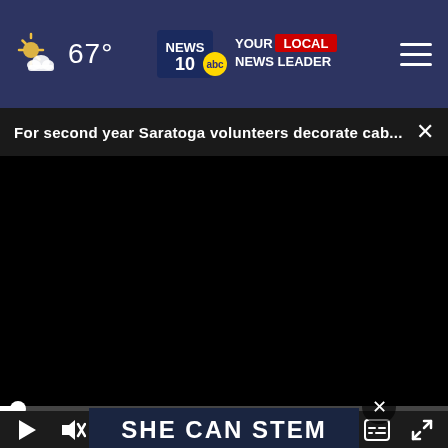67° NEWS 10 YOUR LOCAL NEWS LEADER
For second year Saratoga volunteers decorate cab...
[Figure (screenshot): Video player showing a black screen with playback controls: play button, mute button, timestamp 00:00, captions icon, and fullscreen icon. A progress bar is visible at the bottom of the video area.]
[Figure (photo): Background image showing stacks of US hundred dollar bills, partially visible behind an advertisement overlay.]
SHE CAN STEM